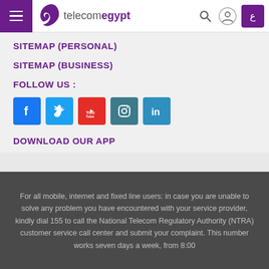Telecom Egypt
SITEMAP (PERSONAL)
SITEMAP (BUSINESS)
FOLLOW US :
[Figure (infographic): Social media icons: Facebook, Twitter, YouTube, Instagram, LinkedIn]
DOWNLOAD OUR APP
For all mobile, internet and fixed line users: in case you are unable to solve any problem you have encountered with your service provider, kindly dial 155 to call the National Telecom Regulatory Authority (NTRA) customer service call center and submit your complaint. This number works seven days a week, from 8:00